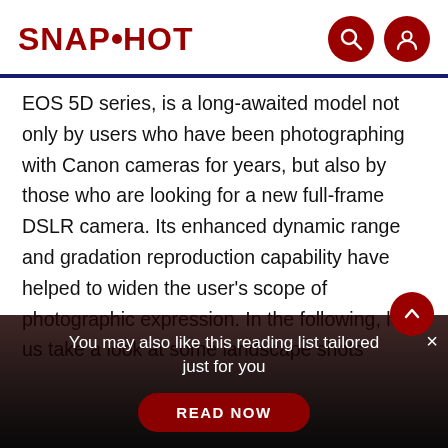SNAPSHOT
EOS 5D series, is a long-awaited model not only by users who have been photographing with Canon cameras for years, but also by those who are looking for a new full-frame DSLR camera. Its enhanced dynamic range and gradation reproduction capability have helped to widen the user’s scope of photographic expression. In the following, let us take a look at some landscape shots
You may also like this reading list tailored just for you
READ NOW